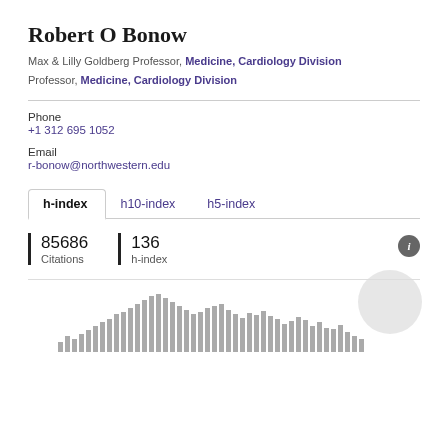Robert O Bonow
Max & Lilly Goldberg Professor, Medicine, Cardiology Division
Professor, Medicine, Cardiology Division
Phone
+1 312 695 1052
Email
r-bonow@northwestern.edu
Tabs: h-index (active), h10-index, h5-index
85686 Citations | 136 h-index
[Figure (bar-chart): Bar chart showing citation history over time, with bars of varying heights representing yearly citations.]